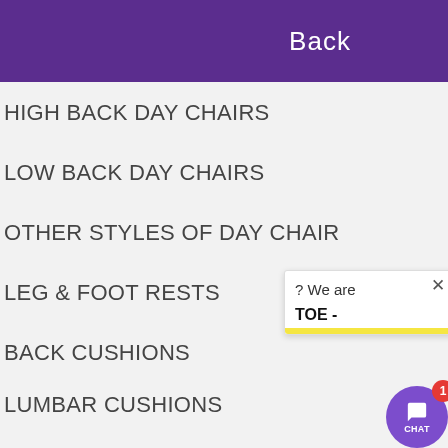Back
HIGH BACK DAY CHAIRS
LOW BACK DAY CHAIRS
OTHER STYLES OF DAY CHAIR
LEG & FOOT RESTS
BACK CUSHIONS
LUMBAR CUSHIONS
PATIENT HANDLING
MATTRESS PROTECTORS & SHEETS
[Figure (screenshot): Chat popup with close button, text '? We are' and 'TOE -', and a purple circular chat button with notification badge showing '1' and label 'CHAT']